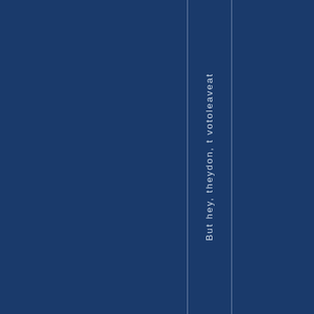But hey, theydon, t votoleaveat